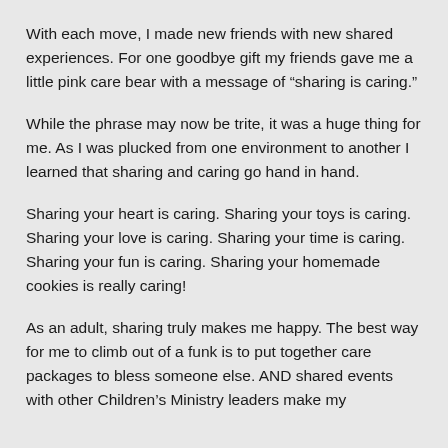With each move, I made new friends with new shared experiences. For one goodbye gift my friends gave me a little pink care bear with a message of “sharing is caring.”
While the phrase may now be trite, it was a huge thing for me. As I was plucked from one environment to another I learned that sharing and caring go hand in hand.
Sharing your heart is caring. Sharing your toys is caring. Sharing your love is caring. Sharing your time is caring. Sharing your fun is caring. Sharing your homemade cookies is really caring!
As an adult, sharing truly makes me happy. The best way for me to climb out of a funk is to put together care packages to bless someone else. AND shared events with other Children’s Ministry leaders make my